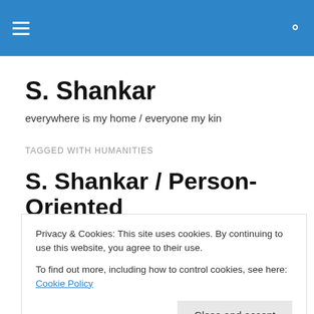S. Shankar — navigation bar with hamburger menu and search icon
S. Shankar
everywhere is my home / everyone my kin
TAGGED WITH HUMANITIES
S. Shankar / Person-Oriented vs Thing-Oriented Education:
Privacy & Cookies: This site uses cookies. By continuing to use this website, you agree to their use.
To find out more, including how to control cookies, see here: Cookie Policy
Close and accept
We Need the Arts and